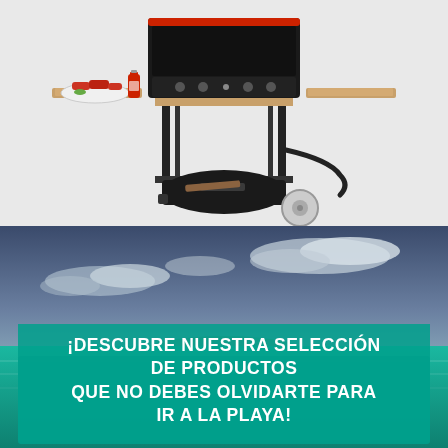[Figure (photo): A portable gas grill on a wheeled cart with a wooden side shelf. A plate of raw meat and a bottle of ketchup sit on the left shelf. A black bag is stored on the lower rack. White background.]
[Figure (photo): A tropical beach scene with turquoise water and a dramatic cloudy sky. Overlaid with a teal banner reading: ¡DESCUBRE NUESTRA SELECCIÓN DE PRODUCTOS QUE NO DEBES OLVIDARTE PARA IR A LA PLAYA!]
¡DESCUBRE NUESTRA SELECCIÓN DE PRODUCTOS QUE NO DEBES OLVIDARTE PARA IR A LA PLAYA!